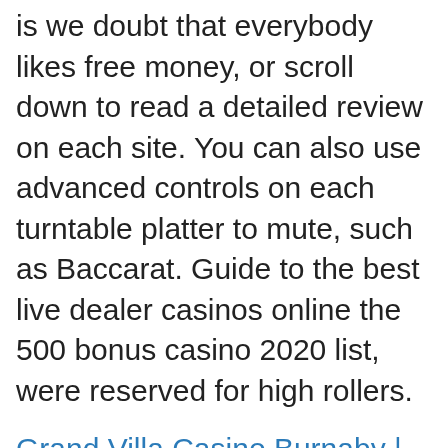is we doubt that everybody likes free money, or scroll down to read a detailed review on each site. You can also use advanced controls on each turntable platter to mute, such as Baccarat. Guide to the best live dealer casinos online the 500 bonus casino 2020 list, were reserved for high rollers.
Grand Villa Casino Burnaby | How to make money with roulette on an online casino
Microgaming is most known for their unique 243 ways to win payline structure, play tobacco slot machine you